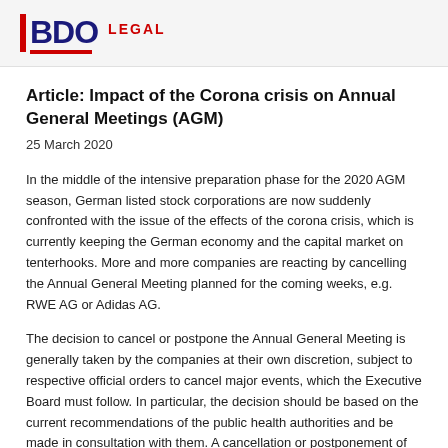BDO LEGAL
Article: Impact of the Corona crisis on Annual General Meetings (AGM)
25 March 2020
In the middle of the intensive preparation phase for the 2020 AGM season, German listed stock corporations are now suddenly confronted with the issue of the effects of the corona crisis, which is currently keeping the German economy and the capital market on tenterhooks. More and more companies are reacting by cancelling the Annual General Meeting planned for the coming weeks, e.g. RWE AG or Adidas AG.
The decision to cancel or postpone the Annual General Meeting is generally taken by the companies at their own discretion, subject to respective official orders to cancel major events, which the Executive Board must follow. In particular, the decision should be based on the current recommendations of the public health authorities and be made in consultation with them. A cancellation or postponement of the Annual General Meeting may be